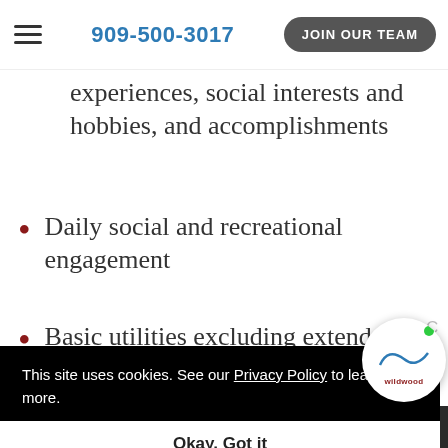909-500-3017 | JOIN OUR TEAM
experiences, social interests and hobbies, and accomplishments
Daily social and recreational engagement
Basic utilities excluding extended cable and phone service
This site uses cookies. See our Privacy Policy to learn more. Okay, Got it
Licensed nurse oversight